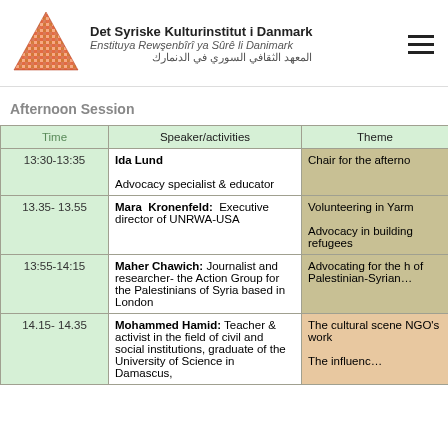Det Syriske Kulturinstitut i Danmark | Enstituya Rewşenbîrî ya Sûrê li Danimark | المعهد الثقافي السوري في الدنمارك
Afternoon Session
| Time | Speaker/activities | Theme |
| --- | --- | --- |
| 13:30-13:35 | Ida Lund
Advocacy specialist & educator | Chair for the afternoon |
| 13.35- 13.55 | Mara Kronenfeld: Executive director of UNRWA-USA | Volunteering in Yarm...
Advocacy in building refugees |
| 13:55-14:15 | Maher Chawich: Journalist and researcher- the Action Group for the Palestinians of Syria based in London | Advocating for the h... of Palestinian-Syrian... |
| 14.15- 14.35 | Mohammed Hamid: Teacher & activist in the field of civil and social institutions, graduate of the University of Science in Damascus, | The cultural scene NGO's work
The influen... |